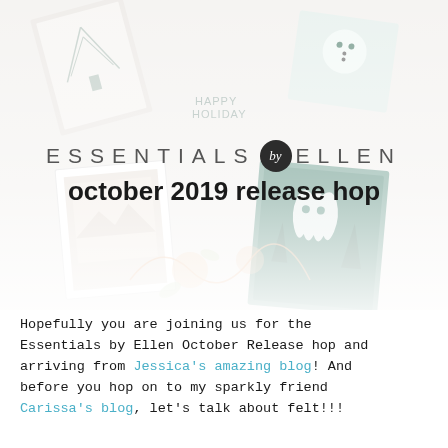[Figure (photo): Collage banner image showing various handmade cards and craft supplies with a light, faded overlay. Shows snowman, trees, Halloween ghost, and floral designs on cards scattered across the image.]
ESSENTIALS by ELLEN
october 2019 release hop
Hopefully you are joining us for the Essentials by Ellen October Release hop and arriving from Jessica's amazing blog! And before you hop on to my sparkly friend Carissa's blog, let's talk about felt!!!